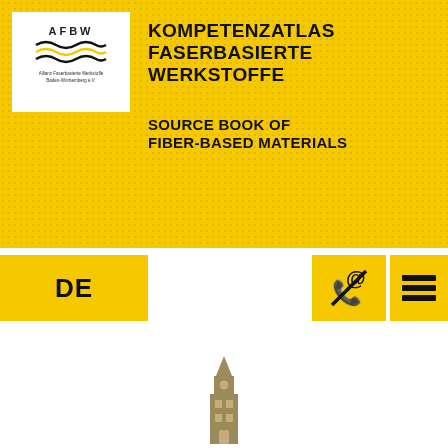[Figure (logo): AFBW logo with wavy lines and text 'Allianz Faserbasierte Werkstoffe Baden-Württemberg e.V.']
KOMPETENZATLAS FASERBASIERTE WERKSTOFFE
SOURCE BOOK OF FIBER-BASED MATERIALS
DE
[Figure (other): Contact icon: phone and @ symbol with slash]
[Figure (other): Hamburger menu icon: three horizontal bars]
[Figure (illustration): Golden/brown tower building icon]